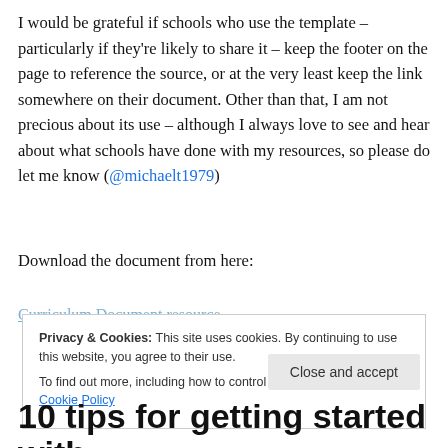I would be grateful if schools who use the template – particularly if they're likely to share it – keep the footer on the page to reference the source, or at the very least keep the link somewhere on their document. Other than that, I am not precious about its use – although I always love to see and hear about what schools have done with my resources, so please do let me know (@michaelt1979)
Download the document from here:
Privacy & Cookies: This site uses cookies. By continuing to use this website, you agree to their use. To find out more, including how to control cookies, see here: Cookie Policy
10 tips for getting started with